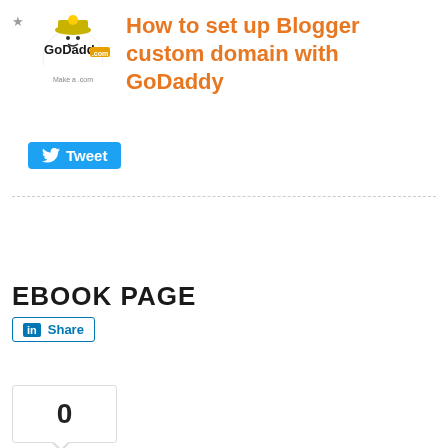[Figure (logo): GoDaddy logo with cartoon character and tagline 'Make a .com']
How to set up Blogger custom domain with GoDaddy
[Figure (screenshot): Twitter Tweet button (blue, with bird icon)]
EBOOK PAGE
[Figure (screenshot): LinkedIn Share button (blue outlined, with LinkedIn icon)]
[Figure (screenshot): Google+ share widget showing count 0 and orange Share button with plus icon]